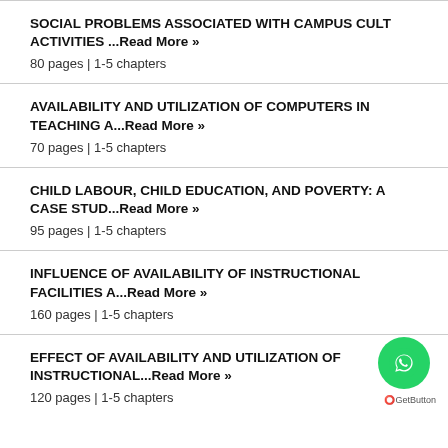SOCIAL PROBLEMS ASSOCIATED WITH CAMPUS CULT ACTIVITIES ...Read More »
80 pages | 1-5 chapters
AVAILABILITY AND UTILIZATION OF COMPUTERS IN TEACHING A...Read More »
70 pages | 1-5 chapters
CHILD LABOUR, CHILD EDUCATION, AND POVERTY: A CASE STUD...Read More »
95 pages | 1-5 chapters
INFLUENCE OF AVAILABILITY OF INSTRUCTIONAL FACILITIES A...Read More »
160 pages | 1-5 chapters
EFFECT OF AVAILABILITY AND UTILIZATION OF INSTRUCTIONAL...Read More »
120 pages | 1-5 chapters